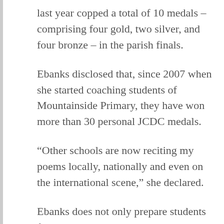last year copped a total of 10 medals – comprising four gold, two silver, and four bronze – in the parish finals.
Ebanks disclosed that, since 2007 when she started coaching students of Mountainside Primary, they have won more than 30 personal JCDC medals.
“Other schools are now reciting my poems locally, nationally and even on the international scene,” she declared.
Ebanks does not only prepare students for JCDC competitions. She recently helped Mountainside Primary to victory in the inaugural South West St. Elizabeth Debate Competition put on by